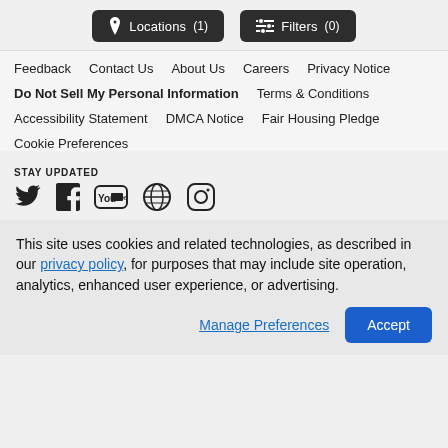[Figure (screenshot): Two navigation buttons: 'Locations (1)' and 'Filters (0)' on dark background]
Feedback   Contact Us   About Us   Careers   Privacy Notice
Do Not Sell My Personal Information   Terms & Conditions
Accessibility Statement   DMCA Notice   Fair Housing Pledge
Cookie Preferences
STAY UPDATED
[Figure (illustration): Social media icons: Twitter, Facebook, YouTube, Globe/Web, Instagram]
This site uses cookies and related technologies, as described in our privacy policy, for purposes that may include site operation, analytics, enhanced user experience, or advertising.
Manage Preferences   Accept